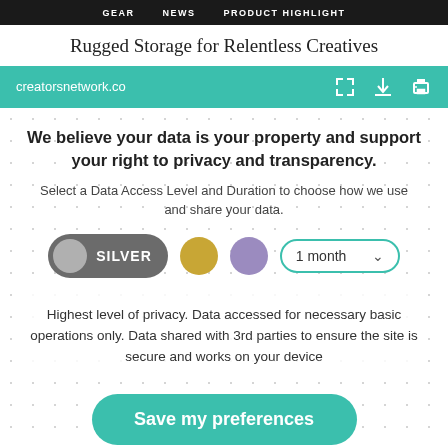GEAR   NEWS   PRODUCT HIGHLIGHT
Rugged Storage for Relentless Creatives
creatorsnetwork.co
We believe your data is your property and support your right to privacy and transparency.
Select a Data Access Level and Duration to choose how we use and share your data.
[Figure (screenshot): Privacy preference selector with Silver, Gold (yellow circle), Purple circle options and 1 month dropdown]
Highest level of privacy. Data accessed for necessary basic operations only. Data shared with 3rd parties to ensure the site is secure and works on your device
Save my preferences
Customize
Privacy policy | Do Not Sell